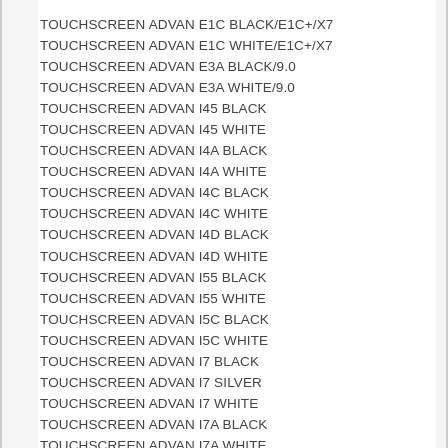TOUCHSCREEN ADVAN E1C BLACK/E1C+/X7
TOUCHSCREEN ADVAN E1C WHITE/E1C+/X7
TOUCHSCREEN ADVAN E3A BLACK/9.0
TOUCHSCREEN ADVAN E3A WHITE/9.0
TOUCHSCREEN ADVAN I45 BLACK
TOUCHSCREEN ADVAN I45 WHITE
TOUCHSCREEN ADVAN I4A BLACK
TOUCHSCREEN ADVAN I4A WHITE
TOUCHSCREEN ADVAN I4C BLACK
TOUCHSCREEN ADVAN I4C WHITE
TOUCHSCREEN ADVAN I4D BLACK
TOUCHSCREEN ADVAN I4D WHITE
TOUCHSCREEN ADVAN I55 BLACK
TOUCHSCREEN ADVAN I55 WHITE
TOUCHSCREEN ADVAN I5C BLACK
TOUCHSCREEN ADVAN I5C WHITE
TOUCHSCREEN ADVAN I7 BLACK
TOUCHSCREEN ADVAN I7 SILVER
TOUCHSCREEN ADVAN I7 WHITE
TOUCHSCREEN ADVAN I7A BLACK
TOUCHSCREEN ADVAN I7A WHITE